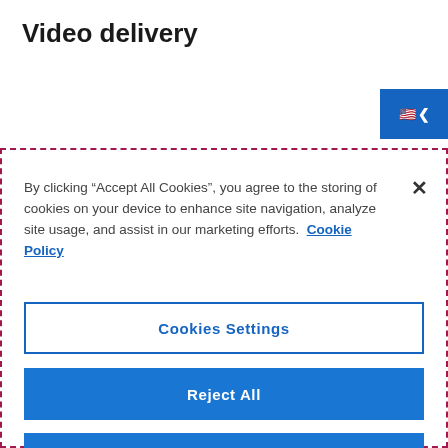Video delivery
[Figure (screenshot): Language selector button with US flag icon and left chevron arrow on blue background, positioned top right]
By clicking “Accept All Cookies”, you agree to the storing of cookies on your device to enhance site navigation, analyze site usage, and assist in our marketing efforts.  Cookie Policy
Cookies Settings
Reject All
Accept All Cookies